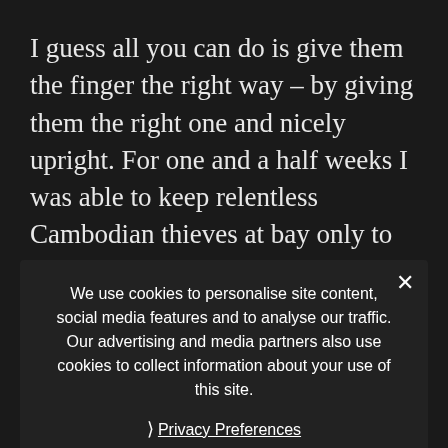I guess all you can do is give them the finger the right way – by giving them the right one and nicely upright. For one and a half weeks I was able to keep relentless Cambodian thieves at bay only to make my first mistake by fooling myself into believing that by giving Cambodians money, they would respect me and in turn watch out for my property while I am exploring the temples. What a greedy, foolish, naive western thought. Lesson learned, greedy beyond words, Cambodians are a bunch of backstabbers without a back bone of their own. There is no low to which a Cambodian would not stoop. And to my surprise of mine, I had it later confirmed by my friends from the Siem...
We use cookies to personalise site content, social media features and to analyse our traffic. Our advertising and media partners also use cookies to collect information about your use of this site.
Privacy Preferences
I Agree